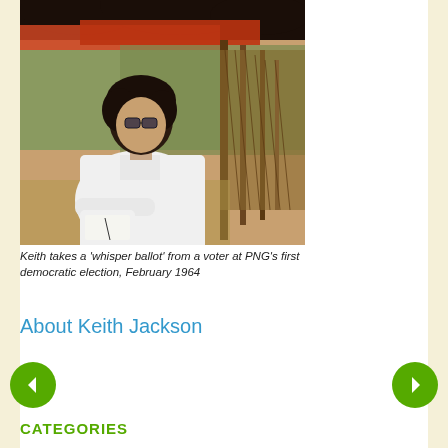[Figure (photo): Black and white photograph of Keith Jackson taking a 'whisper ballot' from a voter at PNG's first democratic election, February 1964. A man in a white shirt and glasses is writing/recording something, with a thatched structure and outdoor vegetation in the background.]
Keith takes a 'whisper ballot' from a voter at PNG's first democratic election, February 1964
About Keith Jackson
CATEGORIES